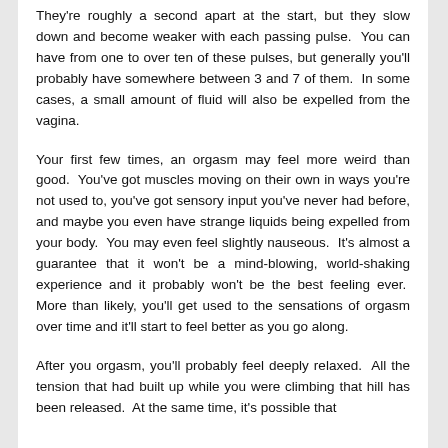They're roughly a second apart at the start, but they slow down and become weaker with each passing pulse.  You can have from one to over ten of these pulses, but generally you'll probably have somewhere between 3 and 7 of them.  In some cases, a small amount of fluid will also be expelled from the vagina.
Your first few times, an orgasm may feel more weird than good.  You've got muscles moving on their own in ways you're not used to, you've got sensory input you've never had before, and maybe you even have strange liquids being expelled from your body.  You may even feel slightly nauseous.  It's almost a guarantee that it won't be a mind-blowing, world-shaking experience and it probably won't be the best feeling ever.  More than likely, you'll get used to the sensations of orgasm over time and it'll start to feel better as you go along.
After you orgasm, you'll probably feel deeply relaxed.  All the tension that had built up while you were climbing that hill has been released.  At the same time, it's possible that